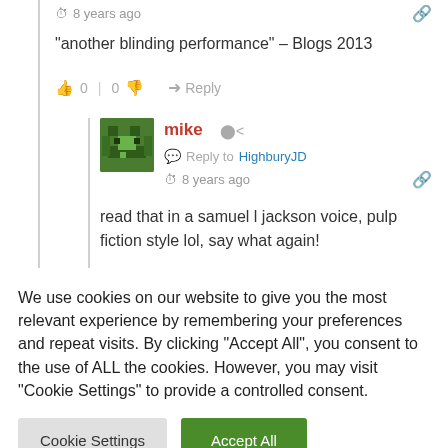8 years ago
“another blinding performance” – Blogs 2013
0 | 0  Reply
mike  Reply to HighburyJD  8 years ago
read that in a samuel l jackson voice, pulp fiction style lol, say what again!
We use cookies on our website to give you the most relevant experience by remembering your preferences and repeat visits. By clicking “Accept All”, you consent to the use of ALL the cookies. However, you may visit “Cookie Settings” to provide a controlled consent.